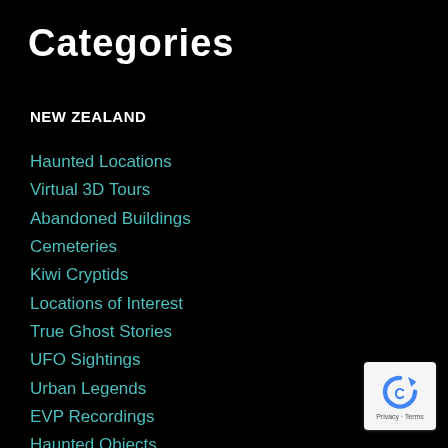Categories
NEW ZEALAND
Haunted Locations
Virtual 3D Tours
Abandoned Buildings
Cemeteries
Kiwi Cryptids
Locations of Interest
True Ghost Stories
UFO Sightings
Urban Legends
EVP Recordings
Haunted Objects
[Figure (logo): reCAPTCHA badge with Privacy and Terms text]